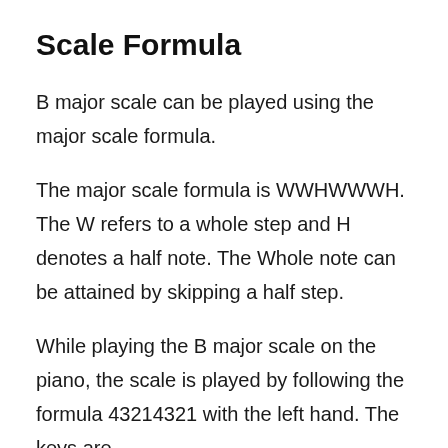Scale Formula
B major scale can be played using the major scale formula.
The major scale formula is WWHWWWH. The W refers to a whole step and H denotes a half note. The Whole note can be attained by skipping a half step.
While playing the B major scale on the piano, the scale is played by following the formula 43214321 with the left hand. The keys are